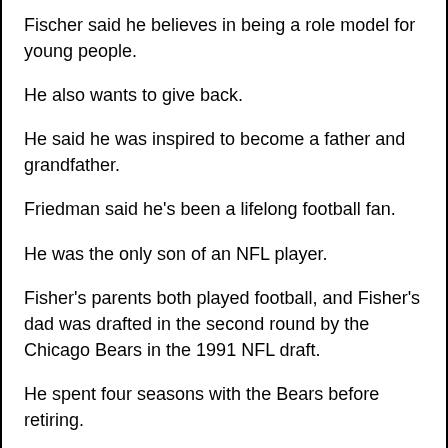Fischer said he believes in being a role model for young people.
He also wants to give back.
He said he was inspired to become a father and grandfather.
Friedman said he's been a lifelong football fan.
He was the only son of an NFL player.
Fisher's parents both played football, and Fisher's dad was drafted in the second round by the Chicago Bears in the 1991 NFL draft.
He spent four seasons with the Bears before retiring.
Fitzgerald said he is not a fan of the NFL or the politics of the game.
But he said he wants his kids to be one day...